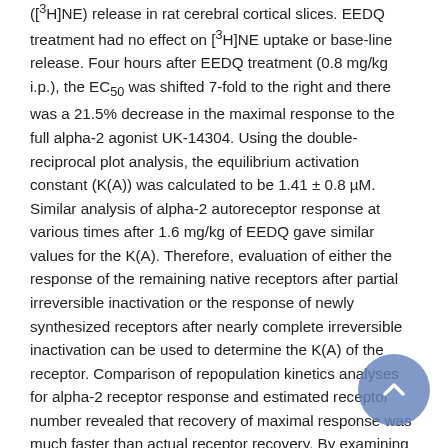([³H]NE) release in rat cerebral cortical slices. EEDQ treatment had no effect on [³H]NE uptake or base-line release. Four hours after EEDQ treatment (0.8 mg/kg i.p.), the EC₅₀ was shifted 7-fold to the right and there was a 21.5% decrease in the maximal response to the full alpha-2 agonist UK-14304. Using the double-reciprocal plot analysis, the equilibrium activation constant (K(A)) was calculated to be 1.41 ± 0.8 µM. Similar analysis of alpha-2 autoreceptor response at various times after 1.6 mg/kg of EEDQ gave similar values for the K(A). Therefore, evaluation of either the response of the remaining native receptors after partial irreversible inactivation or the response of newly synthesized receptors after nearly complete irreversible inactivation can be used to determine the K(A) of the receptor. Comparison of repopulation kinetics analyses for alpha-2 receptor response and estimated receptor number revealed that recovery of maximal response was much faster than actual receptor recovery. By examining the relationship between alpha-2 autoreceptor occupancy and response it was possible to determine that there is approximately a 60 to 70% receptor reserve; only 1.5% of the receptors need be occupied by UK-14304 in order to obtain 50% of the maximal inhibition of [³H]NE release. The presence of a large receptor reserve must be taken into account when evaluating alpha-2 adrenergic